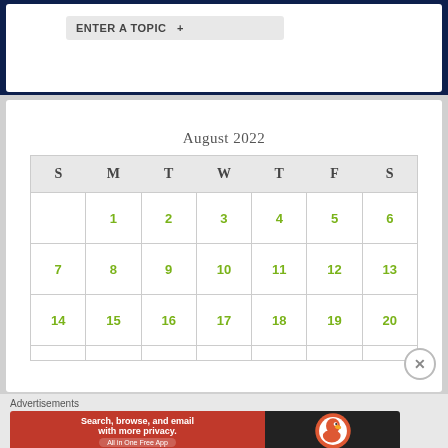August 2022
| S | M | T | W | T | F | S |
| --- | --- | --- | --- | --- | --- | --- |
|  | 1 | 2 | 3 | 4 | 5 | 6 |
| 7 | 8 | 9 | 10 | 11 | 12 | 13 |
| 14 | 15 | 16 | 17 | 18 | 19 | 20 |
|  |  |  |  |  |  |  |
Advertisements
[Figure (screenshot): DuckDuckGo advertisement banner: red section with text 'Search, browse, and email with more privacy. All in One Free App' and dark section with DuckDuckGo logo duck icon]